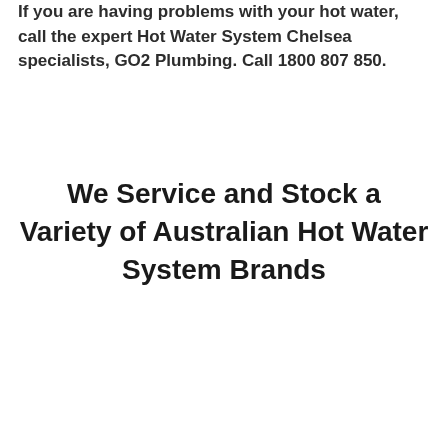If you are having problems with your hot water, call the expert Hot Water System Chelsea specialists, GO2 Plumbing. Call 1800 807 850.
We Service and Stock a Variety of Australian Hot Water System Brands